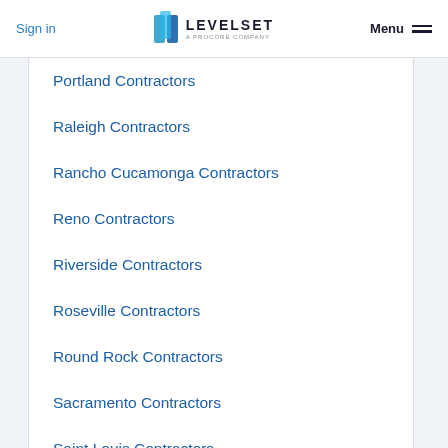Sign in | LEVELSET A PROCORE COMPANY | Menu
Portland Contractors
Raleigh Contractors
Rancho Cucamonga Contractors
Reno Contractors
Riverside Contractors
Roseville Contractors
Round Rock Contractors
Sacramento Contractors
Saint Louis Contractors
Salt Lake City Contractors
San Antonio Contractors